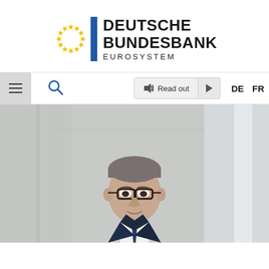[Figure (logo): Deutsche Bundesbank Eurosystem logo with EU stars ring and blue vertical bar]
[Figure (screenshot): Website navigation bar with hamburger menu, search icon, Read out button with play control, and DE FR language switcher]
[Figure (photo): Portrait photo of a man in a dark suit and blue tie wearing glasses, with a blurred light background]